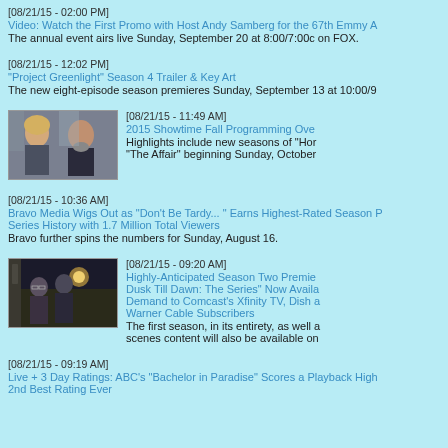[08/21/15 - 02:00 PM]
Video: Watch the First Promo with Host Andy Samberg for the 67th Emmy A
The annual event airs live Sunday, September 20 at 8:00/7:00c on FOX.
[08/21/15 - 12:02 PM]
"Project Greenlight" Season 4 Trailer & Key Art
The new eight-episode season premieres Sunday, September 13 at 10:00/9
[Figure (photo): Two actors from Homeland TV show, a blonde woman and a bearded older man in a suit]
[08/21/15 - 11:49 AM]
2015 Showtime Fall Programming Ove
Highlights include new seasons of "Hor "The Affair" beginning Sunday, October
[08/21/15 - 10:36 AM]
Bravo Media Wigs Out as "Don't Be Tardy... " Earns Highest-Rated Season P Series History with 1.7 Million Total Viewers
Bravo further spins the numbers for Sunday, August 16.
[Figure (photo): Scene from From Dusk Till Dawn TV series showing actors in dark setting]
[08/21/15 - 09:20 AM]
Highly-Anticipated Season Two Premie Dusk Till Dawn: The Series" Now Availa Demand to Comcast's Xfinity TV, Dish a Warner Cable Subscribers
The first season, in its entirety, as well a scenes content will also be available on
[08/21/15 - 09:19 AM]
Live + 3 Day Ratings: ABC's "Bachelor in Paradise" Scores a Playback High 2nd Best Rating Ever